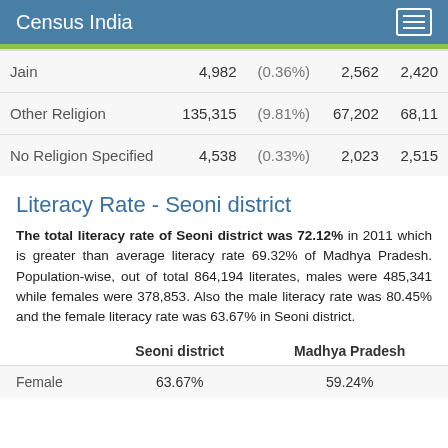Census India
|  |  |  |  |  |
| --- | --- | --- | --- | --- |
| Jain | 4,982 | (0.36%) | 2,562 | 2,420 |
| Other Religion | 135,315 | (9.81%) | 67,202 | 68,11 |
| No Religion Specified | 4,538 | (0.33%) | 2,023 | 2,515 |
Literacy Rate - Seoni district
The total literacy rate of Seoni district was 72.12% in 2011 which is greater than average literacy rate 69.32% of Madhya Pradesh. Population-wise, out of total 864,194 literates, males were 485,341 while females were 378,853. Also the male literacy rate was 80.45% and the female literacy rate was 63.67% in Seoni district.
|  | Seoni district | Madhya Pradesh |
| --- | --- | --- |
| Female | 63.67% | 59.24% |